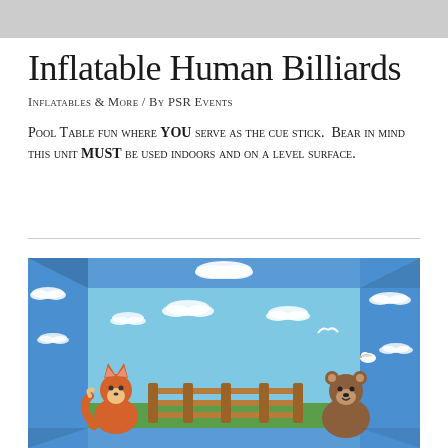Inflatable Human Billiards
Inflatables & More / By PSR Events
Pool Table fun where YOU serve as the cue stick.  Bear in mind this unit MUST be used indoors and on a level surface.
[Figure (photo): Aerial view of an inflatable human billiards arena with blue sky and cloud graphics on the sides, and cartoon animal characters (fox on left, bear on right) on the front panel with a wooden fence design in the center.]